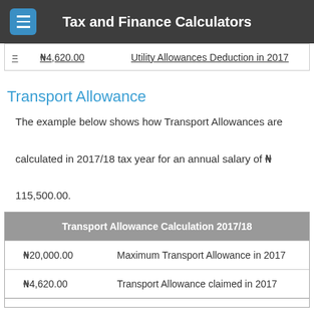Tax and Finance Calculators
|  | Amount | Description |
| --- | --- | --- |
| = | ₦4,620.00 | Utility Allowances Deduction in 2017 |
Transport Allowance
The example below shows how Transport Allowances are calculated in 2017/18 tax year for an annual salary of ₦ 115,500.00.
| Transport Allowance Calculation 2017/18 |
| --- |
|  | ₦20,000.00 | Maximum Transport Allowance in 2017 |
|  | ₦4,620.00 | Transport Allowance claimed in 2017 |